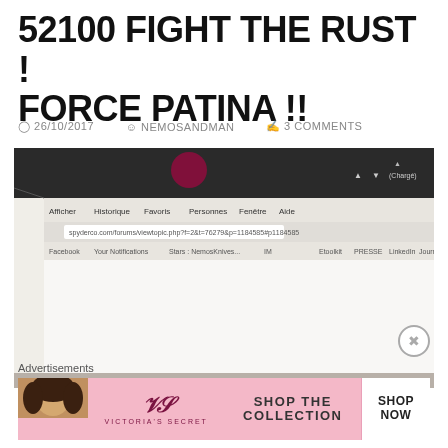52100 FIGHT THE RUST ! FORCE PATINA !!
26/10/2017  NEMOSANDMAN  3 COMMENTS
[Figure (screenshot): Screenshot of a laptop screen showing a browser window with French menu bar (Afficher, Historique, Favoris, Personnes, Fenêtre, Aide) and bookmarks bar. A dark red/maroon circle is visible on the laptop bezel (webcam cover).]
Advertisements
[Figure (infographic): Victoria's Secret advertisement banner: pink background with model photo on left, VS logo in center, text 'SHOP THE COLLECTION', white button on right reading 'SHOP NOW']